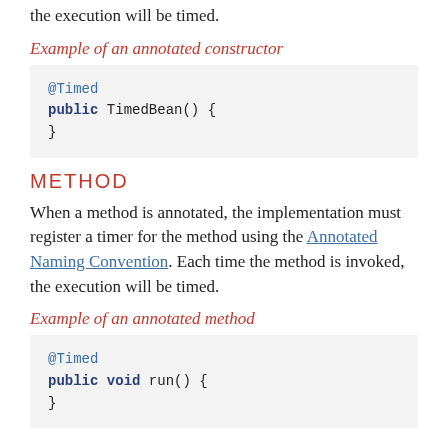the execution will be timed.
Example of an annotated constructor
@Timed
public TimedBean() {
}
METHOD
When a method is annotated, the implementation must register a timer for the method using the Annotated Naming Convention. Each time the method is invoked, the execution will be timed.
Example of an annotated method
@Timed
public void run() {
}